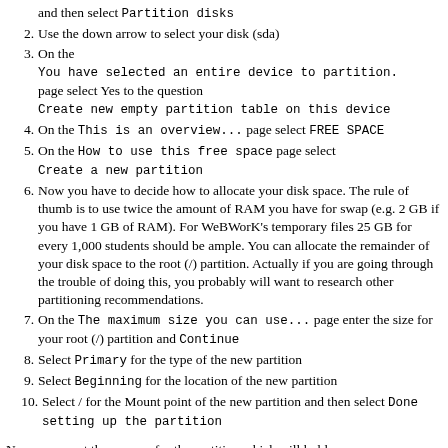and then select Partition disks (continuation/top cut off)
2. Use the down arrow to select your disk (sda)
3. On the You have selected an entire device to partition. page select Yes to the question Create new empty partition table on this device
4. On the This is an overview... page select FREE SPACE
5. On the How to use this free space page select Create a new partition
6. Now you have to decide how to allocate your disk space. The rule of thumb is to use twice the amount of RAM you have for swap (e.g. 2 GB if you have 1 GB of RAM). For WeBWorK's temporary files 25 GB for every 1,000 students should be ample. You can allocate the remainder of your disk space to the root (/) partition. Actually if you are going through the trouble of doing this, you probably will want to research other partitioning recommendations.
7. On the The maximum size you can use... page enter the size for your root (/) partition and Continue
8. Select Primary for the type of the new partition
9. Select Beginning for the location of the new partition
10. Select / for the Mount point of the new partition and then select Done setting up the partition
Now we repeat the process for the partition which will hold WeBWorK's temporary files